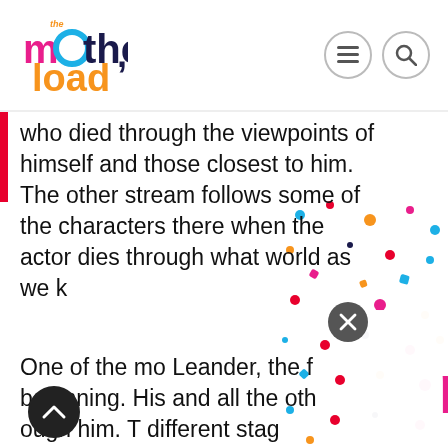[Figure (logo): The Motherload logo in header - colorful text logo with 'the' in orange, 'm' in pink, 'o' as blue circle, 'ther' in dark navy, 'load' in orange]
[Figure (illustration): Hamburger menu icon and search icon in circular borders in header top right]
who died through the viewpoints of himself and those closest to him. The other stream follows some of the characters there when the actor dies through what world as we k
One of the mo Leander, the f beginning. His and all the oth ough him. T different stag
[Figure (logo): The Motherload newsletter logo popup overlay with colorful text and 'newsletter' subtitle and 'available now on Substack' text]
[Figure (illustration): Colorful confetti dots scattered in background]
[Figure (illustration): Close button X circle in dark gray]
[Figure (illustration): Scroll to top chevron arrow button in dark circle bottom left]